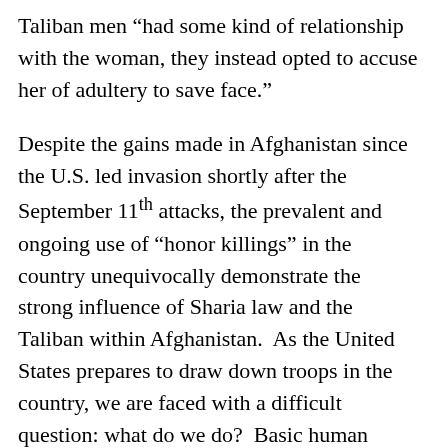Taliban men “had some kind of relationship with the woman, they instead opted to accuse her of adultery to save face.”
Despite the gains made in Afghanistan since the U.S. led invasion shortly after the September 11th attacks, the prevalent and ongoing use of “honor killings” in the country unequivocally demonstrate the strong influence of Sharia law and the Taliban within Afghanistan.  As the United States prepares to draw down troops in the country, we are faced with a difficult question: what do we do?  Basic human decency screams for justice and punishment, but what of